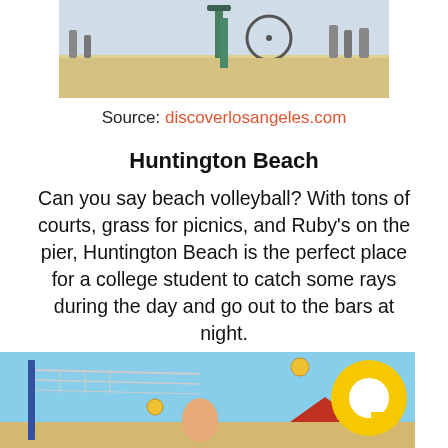[Figure (photo): Photo of a beach boardwalk scene with a bicycle, green structure, and people in the background]
Source: discoverlosangeles.com
Huntington Beach
Can you say beach volleyball? With tons of courts, grass for picnics, and Ruby's on the pier, Huntington Beach is the perfect place for a college student to catch some rays during the day and go out to the bars at night.
[Figure (photo): Photo of a beach volleyball scene with players and net against a blue sky, with a yellow chat/comment bubble icon overlay]